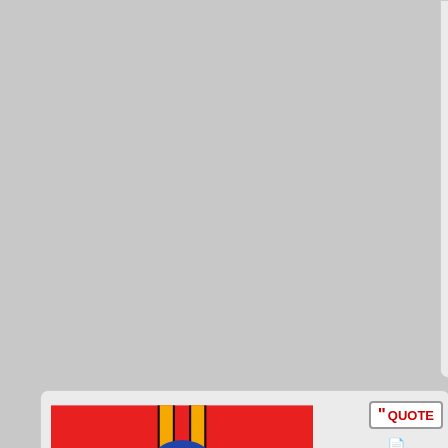Eco Liai | Mai Du Sah like a Dia (scroll icon)
[Figure (illustration): Flag of Wochaystein: red background with yellow/orange cross, blue circle center with white caduceus symbol]
Wochaystein
Chargé d'Affaires
Posts: 403
Founded: May 06, 2018
Authoritarian Democracy
QUOTE
(document icon)
by Wochaystein
»
Sun Jan 12, 2020 5:17 pm
Th
"or
sin
the
wh
ca
the